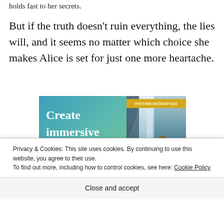holds fast to her secrets.
But if the truth doesn’t ruin everything, the lies will, and it seems no matter which choice she makes Alice is set for just one more heartache.
[Figure (illustration): Advertisement banner showing 'Create immersive stories.' text on a blue-green gradient background with a photo of a person near a waterfall (Visiting Skogafoss) on the right side.]
Privacy & Cookies: This site uses cookies. By continuing to use this website, you agree to their use.
To find out more, including how to control cookies, see here: Cookie Policy
Close and accept